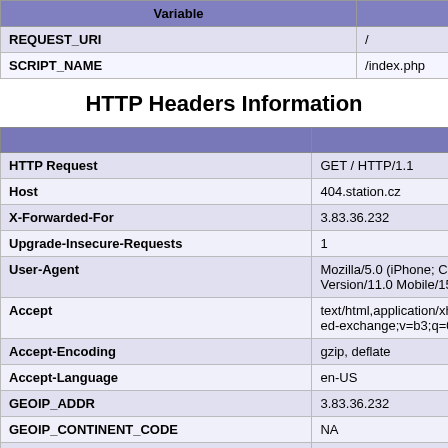| Variable |  |
| --- | --- |
| REQUEST_URI | / |
| SCRIPT_NAME | /index.php |
HTTP Headers Information
|  | HTTP R |
| --- | --- |
| HTTP Request | GET / HTTP/1.1 |
| Host | 404.station.cz |
| X-Forwarded-For | 3.83.36.232 |
| Upgrade-Insecure-Requests | 1 |
| User-Agent | Mozilla/5.0 (iPhone; CP Version/11.0 Mobile/15... |
| Accept | text/html,application/xh ed-exchange;v=b3;q=0... |
| Accept-Encoding | gzip, deflate |
| Accept-Language | en-US |
| GEOIP_ADDR | 3.83.36.232 |
| GEOIP_CONTINENT_CODE | NA |
| GEOIP_COUNTRY_CODE | US |
| GEOIP_COUNTRY_NAME | United States |